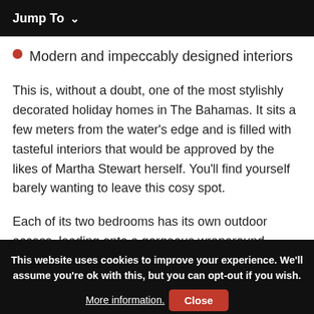Jump To ∨
Modern and impeccably designed interiors
This is, without a doubt, one of the most stylishly decorated holiday homes in The Bahamas. It sits a few meters from the water's edge and is filled with tasteful interiors that would be approved by the likes of Martha Stewart herself. You'll find yourself barely wanting to leave this cosy spot.
Each of its two bedrooms has its own outdoor access, leading onto a gorgeous wraparound covered patio. Is there
This website uses cookies to improve your experience. We'll assume you're ok with this, but you can opt-out if you wish. More information. Close